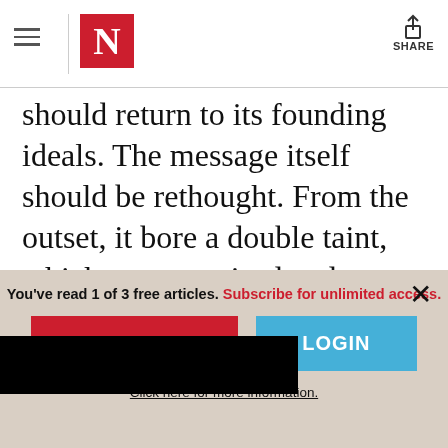The Nation — header with hamburger menu, N logo, and Share button
should return to its founding ideals. The message itself should be rethought. From the outset, it bore a double taint, which compromised and corrupted it. It misrepresented the relation between self-construction and solidarity, failing to do justice to the presence of the latter within the [obscured] mpted Americans to
You've read 1 of 3 free articles. Subscribe for unlimited access.
SUBSCRIBE
LOGIN
Click here for more information.